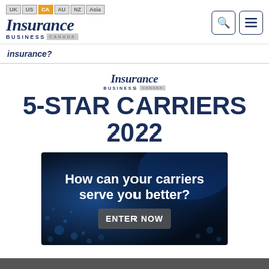UK US CA AU NZ Asia — Insurance Business Canada
insurance?
[Figure (logo): Insurance Business Canada logo (small)]
5-STAR CARRIERS 2022
[Figure (illustration): Banner with dark blue bokeh background. Text: How can your carriers serve you better? ENTER NOW]